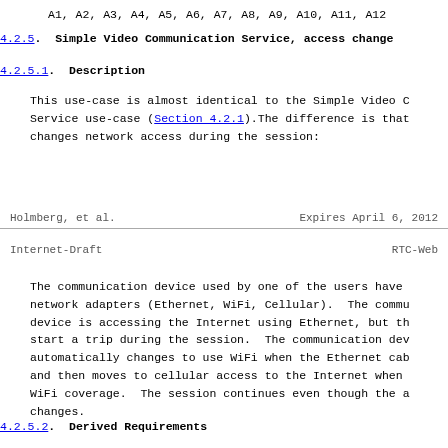A1, A2, A3, A4, A5, A6, A7, A8, A9, A10, A11, A12
4.2.5. Simple Video Communication Service, access change
4.2.5.1. Description
This use-case is almost identical to the Simple Video C
Service use-case (Section 4.2.1).The difference is that
changes network access during the session:
Holmberg, et al.                    Expires April 6, 2012
Internet-Draft                          RTC-Web
The communication device used by one of the users have
network adapters (Ethernet, WiFi, Cellular).  The commu
device is accessing the Internet using Ethernet, but th
start a trip during the session.  The communication dev
automatically changes to use WiFi when the Ethernet cab
and then moves to cellular access to the Internet when
WiFi coverage.  The session continues even though the a
changes.
4.2.5.2. Derived Requirements